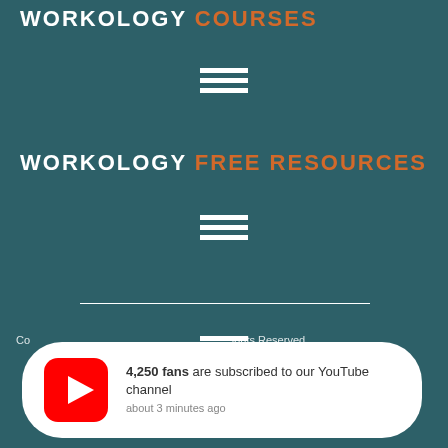WORKOLOGY COURSES
[Figure (infographic): Hamburger menu icon (three horizontal white bars)]
WORKOLOGY FREE RESOURCES
[Figure (infographic): Hamburger menu icon (three horizontal white bars)]
[Figure (infographic): Horizontal white divider line]
[Figure (infographic): Hamburger menu icon (three horizontal white bars)]
Co... ights Reserved. ... p.
[Figure (infographic): YouTube notification popup: 4,250 fans are subscribed to our YouTube channel, about 3 minutes ago]